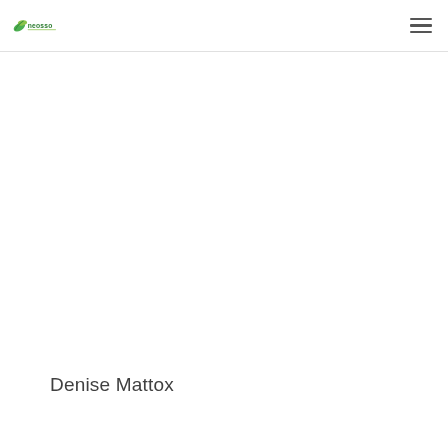Neosso logo and navigation menu
Denise Mattox